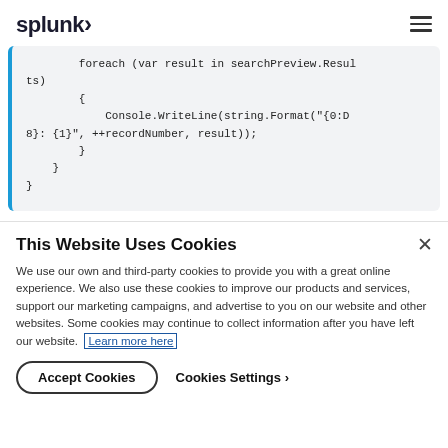splunk>
[Figure (screenshot): Code block showing C# foreach loop with Console.WriteLine and string.Format, with a blue left border on a light gray background.]
This Website Uses Cookies
We use our own and third-party cookies to provide you with a great online experience. We also use these cookies to improve our products and services, support our marketing campaigns, and advertise to you on our website and other websites. Some cookies may continue to collect information after you have left our website. Learn more here
Accept Cookies
Cookies Settings ›